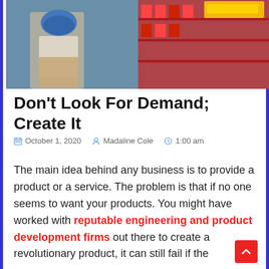[Figure (photo): Person in a store examining a blue helmet or protective gear, with red product displays in the background]
Don't Look For Demand; Create It
October 1, 2020   Madaline Cole   1:00 am
The main idea behind any business is to provide a product or a service. The problem is that if no one seems to want your products. You might have worked with reputable engineering and product development firms out there to create a revolutionary product, it can still fail if the